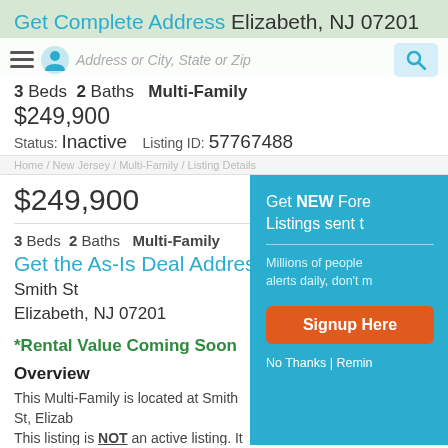Get Complete Address Elizabeth, NJ 07201
3 Beds  2 Baths  Multi-Family
$249,900
Status: Inactive  Listing ID: 57767488
Home / New Jersey / Multi-Family / Listing Details
$249,900
3 Beds  2 Baths  Multi-Family
Get the As-Is Deal Address
Smith St
Elizabeth, NJ 07201
*Rental Value Coming Soon
Overview
This Multi-Family is located at Smith St, Elizab... This listing is NOT an active listing. It has 3 Beds, 2 Baths. This property is As-Is Deal.
Save money on this property now.
Get NEW Fore Listings sent t
Millions of people alerts daily, don't m
Signup Here
No Thanks | Remin